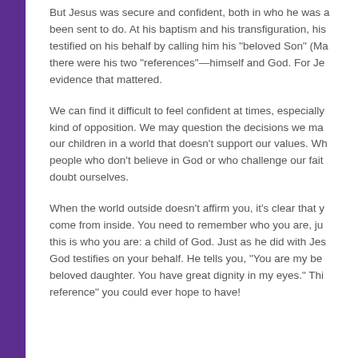But Jesus was secure and confident, both in who he was and in what he had been sent to do. At his baptism and his transfiguration, his Father had testified on his behalf by calling him his "beloved Son" (Ma... there were his two "references"—himself and God. For Je... evidence that mattered.
We can find it difficult to feel confident at times, especially when facing any kind of opposition. We may question the decisions we make... our children in a world that doesn't support our values. Wh... people who don't believe in God or who challenge our fait... doubt ourselves.
When the world outside doesn't affirm you, it's clear that y... come from inside. You need to remember who you are, ju... this is who you are: a child of God. Just as he did with Jes... God testifies on your behalf. He tells you, "You are my be... beloved daughter. You have great dignity in my eyes." Thi... reference" you could ever hope to have!